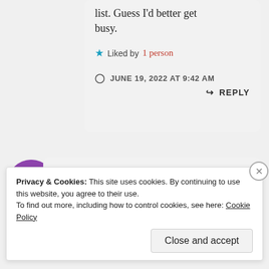list. Guess I'd better get busy.
Liked by 1 person
JUNE 19, 2022 AT 9:42 AM
REPLY
Catsandcoffee
Privacy & Cookies: This site uses cookies. By continuing to use this website, you agree to their use. To find out more, including how to control cookies, see here: Cookie Policy
Close and accept